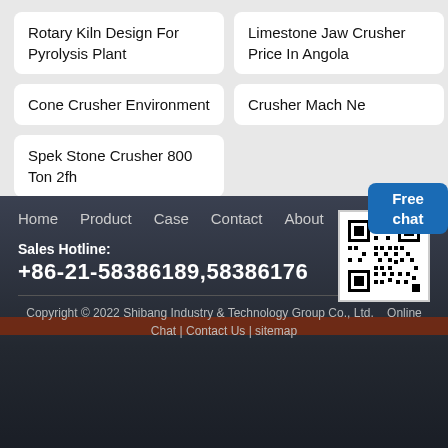Rotary Kiln Design For Pyrolysis Plant
Limestone Jaw Crusher Price In Angola
Cone Crusher Environment
Crusher Mach Ne
Spek Stone Crusher 800 Ton 2fh
Free chat
Home  Product  Case  Contact  About
Sales Hotline:
+86-21-58386189,58386176
Copyright © 2022 Shibang Industry & Technology Group Co., Ltd.  Online Chat | Contact Us | sitemap